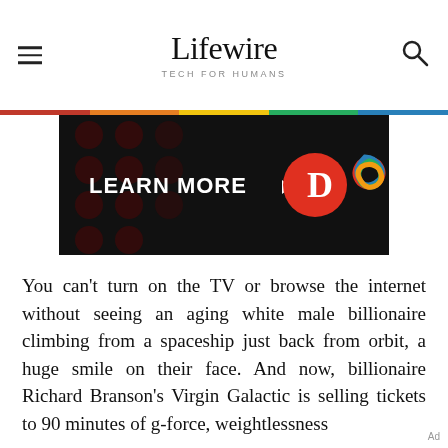Lifewire
TECH FOR HUMANS
[Figure (screenshot): Advertisement banner with dark background showing 'LEARN MORE' text with a red arrow, a red circle with white D logo, and a colorful geometric knot pattern logo]
You can't turn on the TV or browse the internet without seeing an aging white male billionaire climbing from a spaceship just back from orbit, a huge smile on their face. And now, billionaire Richard Branson's Virgin Galactic is selling tickets to 90 minutes of g-force, weightlessness